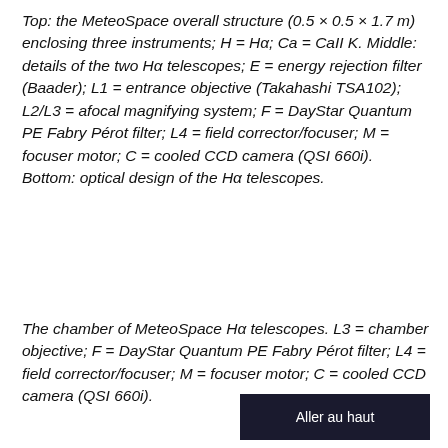Top: the MeteoSpace overall structure (0.5 × 0.5 × 1.7 m) enclosing three instruments; H = Hα; Ca = CaII K. Middle: details of the two Hα telescopes; E = energy rejection filter (Baader); L1 = entrance objective (Takahashi TSA102); L2/L3 = afocal magnifying system; F = DayStar Quantum PE Fabry Pérot filter; L4 = field corrector/focuser; M = focuser motor; C = cooled CCD camera (QSI 660i). Bottom: optical design of the Hα telescopes.
The chamber of MeteoSpace Hα telescopes. L3 = chamber objective; F = DayStar Quantum PE Fabry Pérot filter; L4 = field corrector/focuser; M = focuser motor; C = cooled CCD camera (QSI 660i).